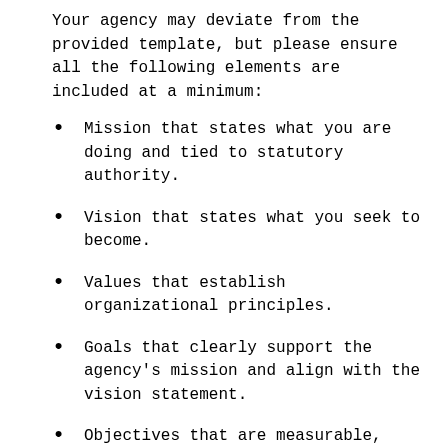Your agency may deviate from the provided template, but please ensure all the following elements are included at a minimum:
Mission that states what you are doing and tied to statutory authority.
Vision that states what you seek to become.
Values that establish organizational principles.
Goals that clearly support the agency's mission and align with the vision statement.
Objectives that are measurable, time-based statements of intent that should